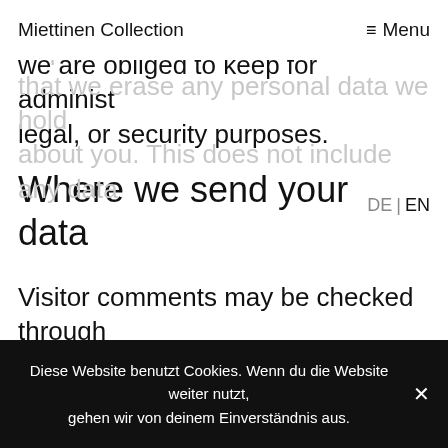Miettinen Collection   ≡ Menu
have provided to us. You can also request that we erase any personal data we hold about you. This does not include any data we are obliged to keep for administ legal, or security purposes.
DE | EN
Where we send your data
Visitor comments may be checked through an automated spam detection service.
Your contact information
Diese Website benutzt Cookies. Wenn du die Website weiter nutzt, gehen wir von deinem Einverständnis aus.